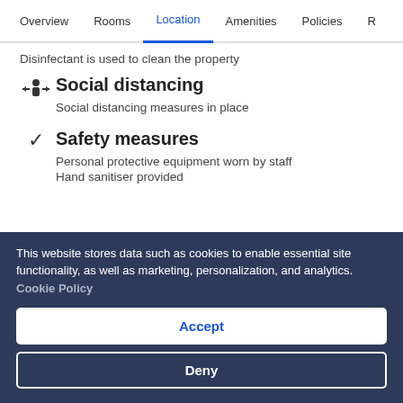Overview  Rooms  Location  Amenities  Policies  R
Disinfectant is used to clean the property
Social distancing
Social distancing measures in place
Safety measures
Personal protective equipment worn by staff
Hand sanitiser provided
This website stores data such as cookies to enable essential site functionality, as well as marketing, personalization, and analytics. Cookie Policy
Accept
Deny